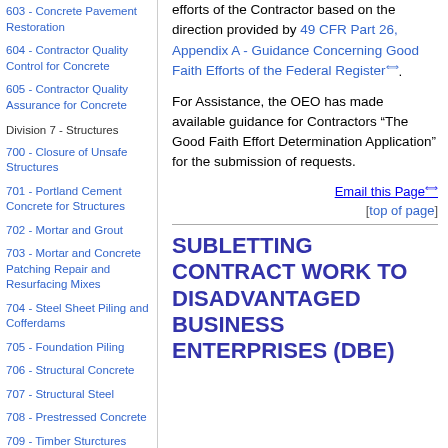603 - Concrete Pavement Restoration
604 - Contractor Quality Control for Concrete
605 - Contractor Quality Assurance for Concrete
Division 7 - Structures
700 - Closure of Unsafe Structures
701 - Portland Cement Concrete for Structures
702 - Mortar and Grout
703 - Mortar and Concrete Patching Repair and Resurfacing Mixes
704 - Steel Sheet Piling and Cofferdams
705 - Foundation Piling
706 - Structural Concrete
707 - Structural Steel
708 - Prestressed Concrete
709 - Timber Sturctures
efforts of the Contractor based on the direction provided by 49 CFR Part 26, Appendix A - Guidance Concerning Good Faith Efforts of the Federal Register⦺.
For Assistance, the OEO has made available guidance for Contractors “The Good Faith Effort Determination Application” for the submission of requests.
Email this Page⦺
[top of page]
SUBLETTING CONTRACT WORK TO DISADVANTAGED BUSINESS ENTERPRISES (DBE)